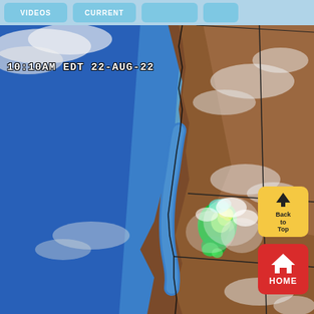[Figure (screenshot): Navigation bar at top with light blue rounded buttons]
[Figure (map): Satellite/radar composite map showing western North America (Pacific Northwest, British Columbia) with radar returns in green/yellow indicating precipitation. Timestamp: 10:10AM EDT 22-AUG-22. Ocean is blue on the left, land is brown. State/province borders are drawn. A Back to Top button and HOME button are visible in the lower right.]
10:10AM EDT 22-AUG-22